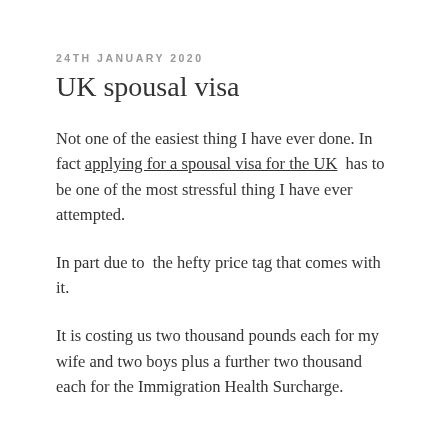24TH JANUARY 2020
UK spousal visa
Not one of the easiest thing I have ever done. In fact applying for a spousal visa for the UK has to be one of the most stressful thing I have ever attempted.
In part due to the hefty price tag that comes with it.
It is costing us two thousand pounds each for my wife and two boys plus a further two thousand each for the Immigration Health Surcharge.